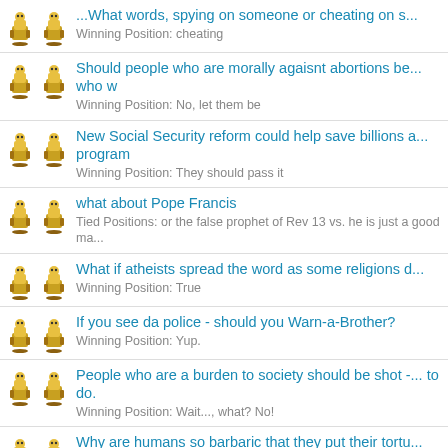Title: [partial] ...What words, spying on someone or cheating on...
Winning Position: cheating
Title: Should people who are morally agaisnt abortions be... who w
Winning Position: No, let them be
Title: New Social Security reform could help save billions a... program
Winning Position: They should pass it
Title: what about Pope Francis
Tied Positions: or the false prophet of Rev 13 vs. he is just a good ma...
Title: What if atheists spread the word as some religions d...
Winning Position: True
Title: If you see da police - should you Warn-a-Brother?
Winning Position: Yup.
Title: People who are a burden to society should be shot -... to do.
Winning Position: Wait..., what? No!
Title: Why are humans so barbaric that they put their tortu...
Winning Position: Why are humans so barbaric that they put their tort...
Title: Multi-step plan designed to get rid of illegals forever...
Winning Position: Wait..., what? No!!!